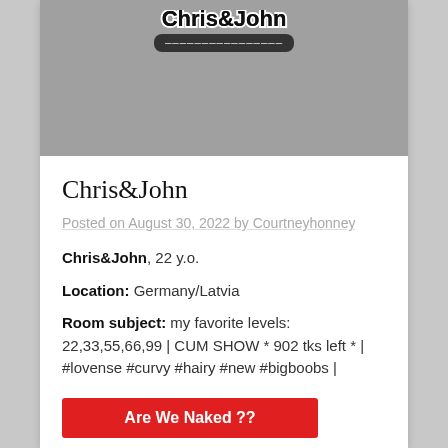[Figure (logo): Grayscale image with a logo/banner at the top on a gray background]
Chris&John
Posted on August 30, 2022 by Courtneyhonney
Chris&John, 22 y.o.
Location: Germany/Latvia
Room subject: my favorite levels: 22,33,55,66,99 | CUM SHOW * 902 tks left * | #lovense #curvy #hairy #new #bigboobs |
Are We Naked ??